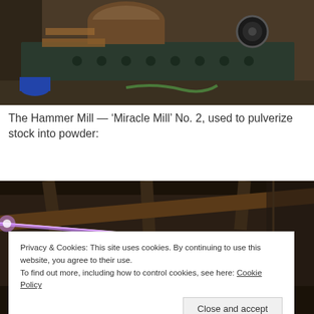[Figure (photo): A large industrial hammer mill machine (Miracle Mill No. 2) on a workshop floor, showing metal components, rollers, and chains in a dimly lit workshop.]
The Hammer Mill — ‘Miracle Mill’ No. 2, used to pulverize stock into powder:
[Figure (photo): Interior of a workshop or industrial building with beams and a bright light or laser beam visible, taken from a low angle.]
Privacy & Cookies: This site uses cookies. By continuing to use this website, you agree to their use.
To find out more, including how to control cookies, see here: Cookie Policy
Close and accept